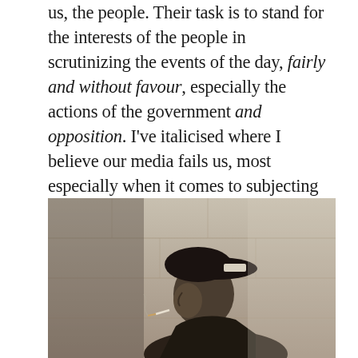us, the people. Their task is to stand for the interests of the people in scrutinizing the events of the day, fairly and without favour, especially the actions of the government and opposition. I've italicised where I believe our media fails us, most especially when it comes to subjecting the opposition to scrutiny. Not just reporting what they say, but actually looking for policies.
[Figure (photo): Black and white photograph of a man in profile wearing a dark cap with a light label/patch on it, appearing to smoke a cigarette, in front of a stone or concrete wall background.]